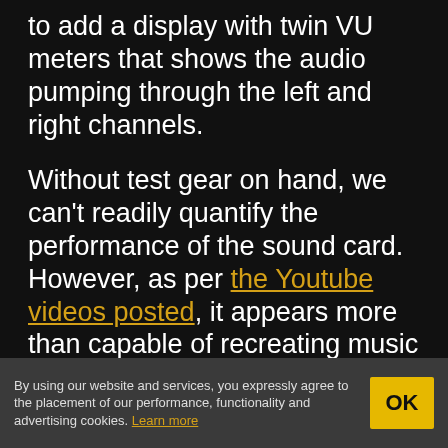to add a display with twin VU meters that shows the audio pumping through the left and right channels.
Without test gear on hand, we can't readily quantify the performance of the sound card. However, as per the Youtube videos posted, it appears more than capable of recreating music with good fidelity and plenty of fine detail.
If you need a cheap, simple USB sound card that you can hack away on, this might be the
By using our website and services, you expressly agree to the placement of our performance, functionality and advertising cookies. Learn more